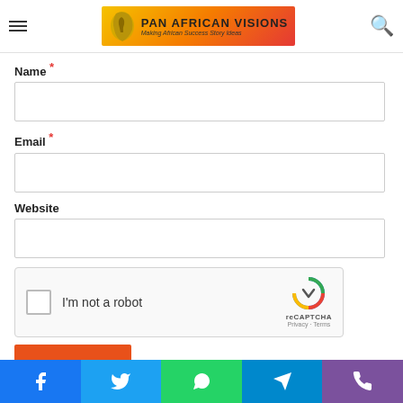[Figure (logo): Pan African Visions logo with orange/yellow gradient background, Africa silhouette and text 'PAN AFRICAN VISIONS Making African Success Story Ideas']
Name *
Email *
Website
[Figure (other): reCAPTCHA widget with checkbox 'I'm not a robot' and reCAPTCHA logo with Privacy - Terms links]
[Figure (other): Social sharing bar at bottom with Facebook, Twitter, WhatsApp, Telegram, and Viber icons]